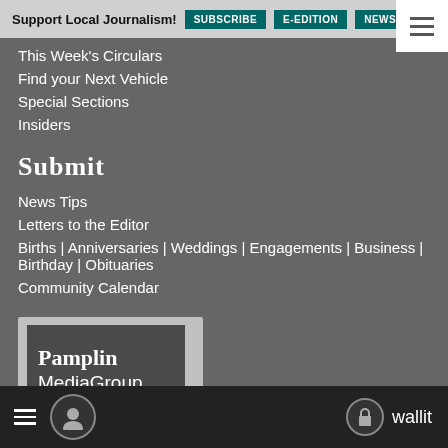Support Local Journalism! SUBSCRIBE E-EDITION NEWSLET
This Week's Circulars
Find your Next Vehicle
Special Sections
Insiders
Submit
News Tips
Letters to the Editor
Births | Anniversaries | Weddings | Engagements | Business | Birthday | Obituaries
Community Calendar
[Figure (logo): Pamplin Media Group logo — white text on dark background inside a light gray speech-bubble style frame]
wallit